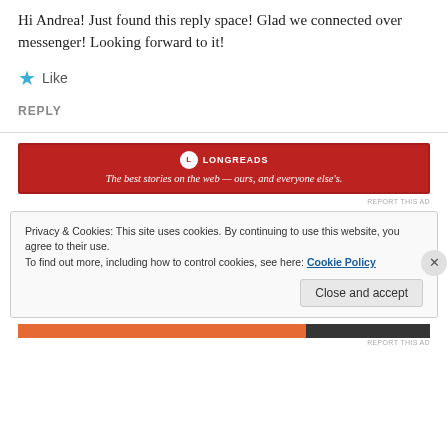Hi Andrea! Just found this reply space! Glad we connected over messenger! Looking forward to it!
★ Like
REPLY
[Figure (infographic): Longreads advertisement banner: red background with circular logo, text 'LONGREADS' and tagline 'The best stories on the web — ours, and everyone else's.']
REPORT THIS AD
Privacy & Cookies: This site uses cookies. By continuing to use this website, you agree to their use.
To find out more, including how to control cookies, see here: Cookie Policy
Close and accept